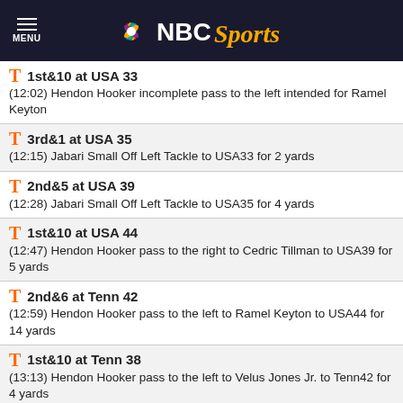NBC Sports
1st&10 at USA 33
(12:02) Hendon Hooker incomplete pass to the left intended for Ramel Keyton
3rd&1 at USA 35
(12:15) Jabari Small Off Left Tackle to USA33 for 2 yards
2nd&5 at USA 39
(12:28) Jabari Small Off Left Tackle to USA35 for 4 yards
1st&10 at USA 44
(12:47) Hendon Hooker pass to the right to Cedric Tillman to USA39 for 5 yards
2nd&6 at Tenn 42
(12:59) Hendon Hooker pass to the left to Ramel Keyton to USA44 for 14 yards
1st&10 at Tenn 38
(13:13) Hendon Hooker pass to the left to Velus Jones Jr. to Tenn42 for 4 yards
4th&13 at USA 30
(13:20) Jack Brooks punts 39 yards to Tenn31, Velus Jones Jr. returns to